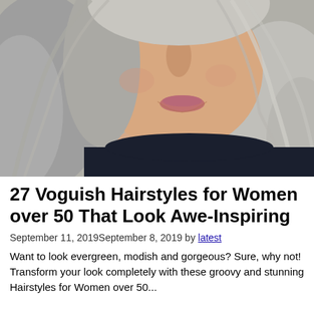[Figure (photo): Close-up portrait of a woman over 50 with long wavy grey and silver hair, smiling, wearing a dark navy top, photographed against a grey background.]
27 Voguish Hairstyles for Women over 50 That Look Awe-Inspiring
September 11, 2019September 8, 2019 by latest
Want to look evergreen, modish and gorgeous? Sure, why not! Transform your look completely with these groovy and stunning Hairstyles for Women over 50...